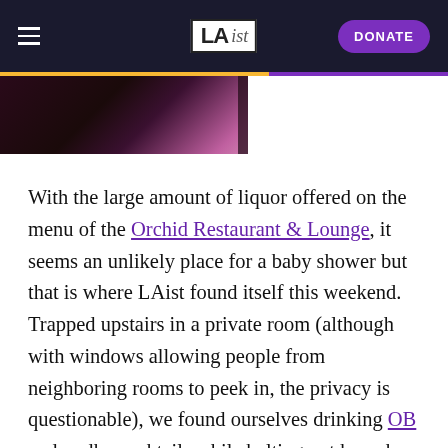LAist | DONATE
[Figure (photo): Dark atmospheric photo showing a dimly lit room with pink/magenta lighting, likely interior of a lounge or restaurant]
With the large amount of liquor offered on the menu of the Orchid Restaurant & Lounge, it seems an unlikely place for a baby shower but that is where LAist found itself this weekend. Trapped upstairs in a private room (although with windows allowing people from neighboring rooms to peek in, the privacy is questionable), we found ourselves drinking OB and vodka cocktails while belting out karaoke tunes to the delight of the mother to be.